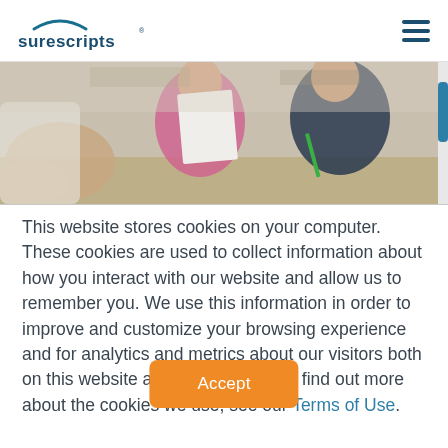[Figure (logo): Surescripts logo with arc above text]
[Figure (photo): Children and adult at a table, one child holding a paper, another holding a pencil, indoor setting]
This website stores cookies on your computer. These cookies are used to collect information about how you interact with our website and allow us to remember you. We use this information in order to improve and customize your browsing experience and for analytics and metrics about our visitors both on this website and other media. To find out more about the cookies we use, see our Terms of Use.
Accept